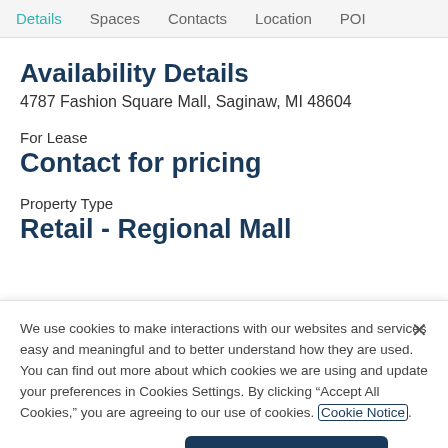Details  Spaces  Contacts  Location  POI
Availability Details
4787 Fashion Square Mall, Saginaw, MI 48604
For Lease
Contact for pricing
Property Type
Retail - Regional Mall
We use cookies to make interactions with our websites and services easy and meaningful and to better understand how they are used. You can find out more about which cookies we are using and update your preferences in Cookies Settings. By clicking “Accept All Cookies,” you are agreeing to our use of cookies. Cookie Notice.
Cookies Settings
Accept All Cookies